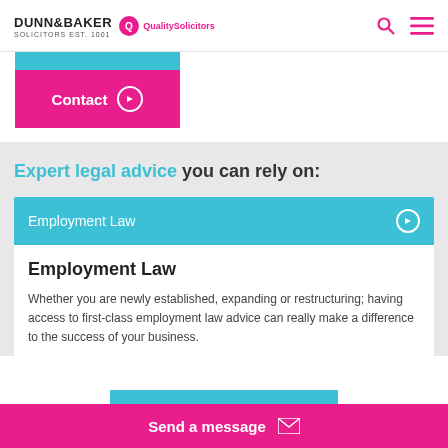DUNN&BAKER SOLICITORS EST. 1001 | QualitySolicitors
[Figure (logo): Dunn & Baker Solicitors logo with QualitySolicitors branding]
Contact
Expert legal advice you can rely on:
Employment Law
Employment Law
Whether you are newly established, expanding or restructuring; having access to first-class employment law advice can really make a difference to the success of your business.
Send a message